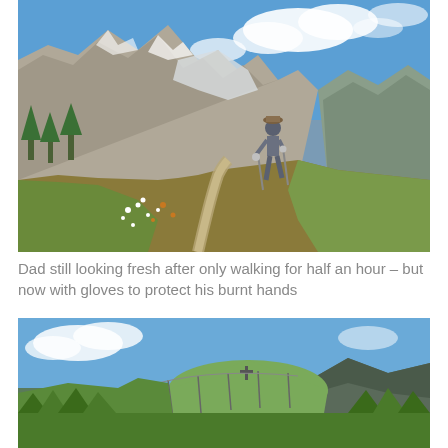[Figure (photo): A hiker with trekking poles and gloves walking along a mountain trail. Dramatic alpine scenery with rocky peaks, glacier, green meadows, wildflowers, and a blue sky with clouds in the background.]
Dad still looking fresh after only walking for half an hour – but now with gloves to protect his burnt hands
[Figure (photo): Mountain landscape with green forested hills, a cross or marker visible on a hilltop, cable car infrastructure, and blue sky with clouds.]